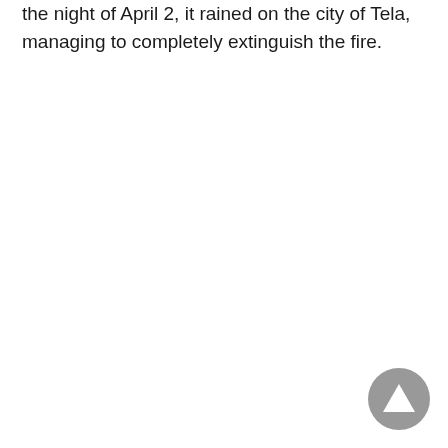the night of April 2, it rained on the city of Tela, managing to completely extinguish the fire.
[Figure (other): A circular back-to-top navigation button with a dark gray background and an upward-pointing triangle arrow in the lower-right corner of the page.]